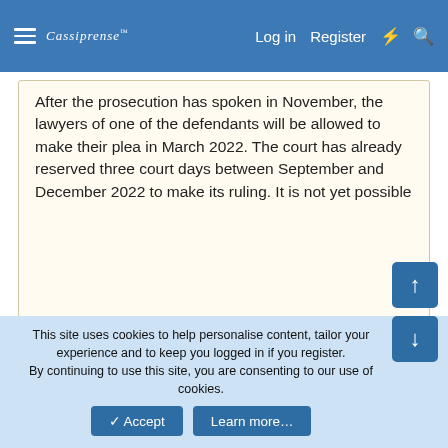Cassiprense | Log in | Register
After the prosecution has spoken in November, the lawyers of one of the defendants will be allowed to make their plea in March 2022. The court has already reserved three court days between September and December 2022 to make its ruling. It is not yet possible
Click to expand...
Coverage in English:
MH17 families express anger, sorrow as court case continues - DutchNews.nl
Dozens of relatives of MH17 victims to testify at murder trial - DutchNews.nl
90 surviving relatives to speak at MH17 trial in coming
This site uses cookies to help personalise content, tailor your experience and to keep you logged in if you register. By continuing to use this site, you are consenting to our use of cookies.